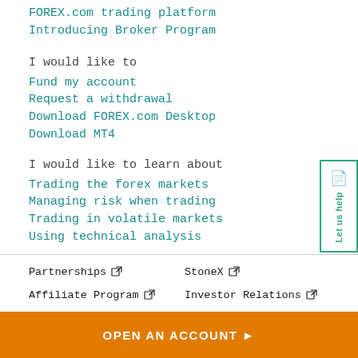FOREX.com trading platform
Introducing Broker Program
I would like to
Fund my account
Request a withdrawal
Download FOREX.com Desktop
Download MT4
I would like to learn about
Trading the forex markets
Managing risk when trading
Trading in volatile markets
Using technical analysis
Partnerships
StoneX
Affiliate Program
Investor Relations
Press Releases
International
OPEN AN ACCOUNT ▶